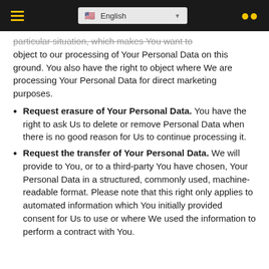English
particular situation, which makes You want to object to our processing of Your Personal Data on this ground. You also have the right to object where We are processing Your Personal Data for direct marketing purposes.
Request erasure of Your Personal Data. You have the right to ask Us to delete or remove Personal Data when there is no good reason for Us to continue processing it.
Request the transfer of Your Personal Data. We will provide to You, or to a third-party You have chosen, Your Personal Data in a structured, commonly used, machine-readable format. Please note that this right only applies to automated information which You initially provided consent for Us to use or where We used the information to perform a contract with You.